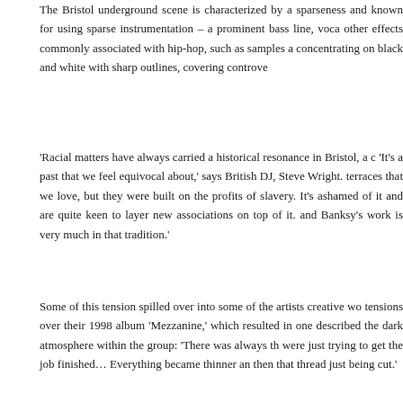The Bristol underground scene is characterized by a sparseness and known for using sparse instrumentation – a prominent bass line, voca other effects commonly associated with hip-hop, such as samples a concentrating on black and white with sharp outlines, covering controve
'Racial matters have always carried a historical resonance in Bristol, a c 'It's a past that we feel equivocal about,' says British DJ, Steve Wright. terraces that we love, but they were built on the profits of slavery. It's ashamed of it and are quite keen to layer new associations on top of it. and Banksy's work is very much in that tradition.'
Some of this tension spilled over into some of the artists creative wo tensions over their 1998 album 'Mezzanine,' which resulted in one described the dark atmosphere within the group: 'There was always th were just trying to get the job finished… Everything became thinner an then that thread just being cut.'
Related
Electronica
February 21, 2012
In "Art"
Blue L
July 19
In "Art"